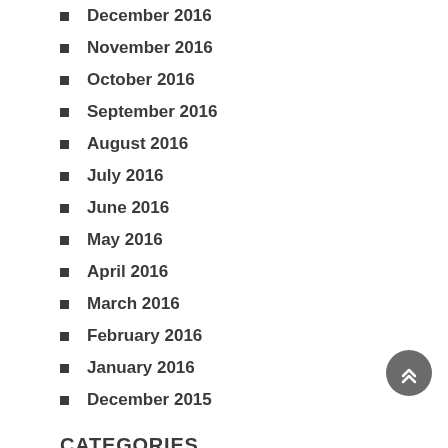December 2016
November 2016
October 2016
September 2016
August 2016
July 2016
June 2016
May 2016
April 2016
March 2016
February 2016
January 2016
December 2015
CATEGORIES